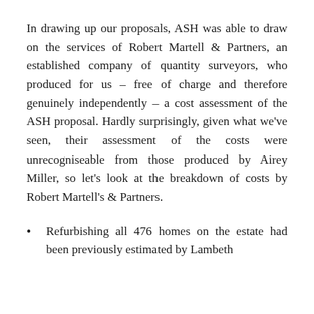In drawing up our proposals, ASH was able to draw on the services of Robert Martell & Partners, an established company of quantity surveyors, who produced for us – free of charge and therefore genuinely independently – a cost assessment of the ASH proposal. Hardly surprisingly, given what we've seen, their assessment of the costs were unrecogniseable from those produced by Airey Miller, so let's look at the breakdown of costs by Robert Martell's & Partners.
Refurbishing all 476 homes on the estate had been previously estimated by Lambeth